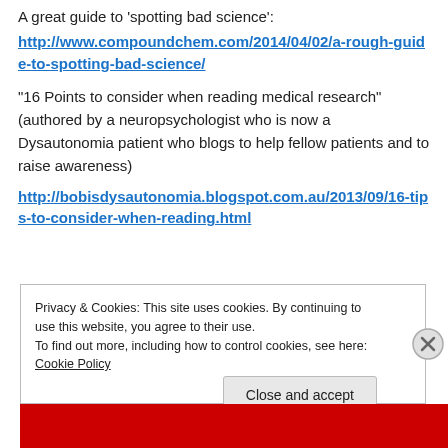A great guide to ‘spotting bad science’:
http://www.compoundchem.com/2014/04/02/a-rough-guide-to-spotting-bad-science/
“16 Points to consider when reading medical research” (authored by a neuropsychologist who is now a Dysautonomia patient who blogs to help fellow patients and to raise awareness)
http://bobisdysautonomia.blogspot.com.au/2013/09/16-tips-to-consider-when-reading.html
Privacy & Cookies: This site uses cookies. By continuing to use this website, you agree to their use.
To find out more, including how to control cookies, see here: Cookie Policy
Close and accept